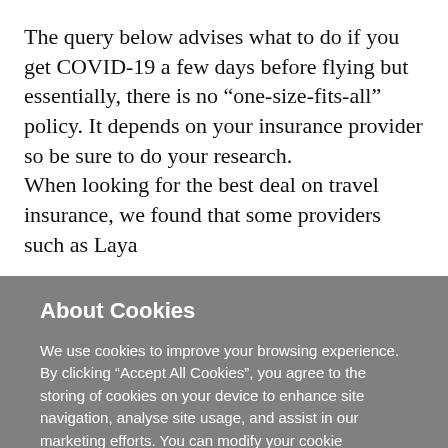The query below advises what to do if you get COVID-19 a few days before flying but essentially, there is no “one-size-fits-all” policy. It depends on your insurance provider so be sure to do your research.
When looking for the best deal on travel insurance, we found that some providers such as Laya
About Cookies
We use cookies to improve your browsing experience. By clicking “Accept All Cookies”, you agree to the storing of cookies on your device to enhance site navigation, analyse site usage, and assist in our marketing efforts. You can modify your cookie preferences by clicking on cookie settings within our  Cookie Policy